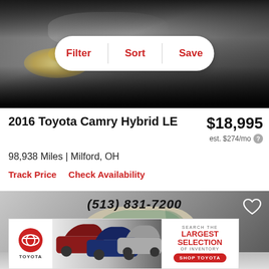[Figure (photo): Front of a silver/gold Toyota Camry car photo at top of listing page with Filter, Sort, Save navigation bar overlaid]
2016 Toyota Camry Hybrid LE
$18,995
est. $274/mo
98,938 Miles | Milford, OH
Track Price   Check Availability
[Figure (photo): Side view of a silver Toyota Camry Hybrid with phone number (513) 831-7200 overlaid, and a heart/favorite icon in top right corner]
[Figure (other): Toyota advertisement banner: Search the Largest Selection of Inventory - Shop Toyota]